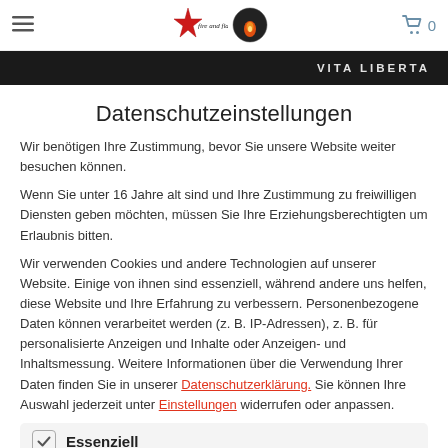Fire and Flames Store — navigation header with hamburger menu, logo, and cart
[Figure (screenshot): Dark banner strip with text VITA LIBERTA in white]
Datenschutzeinstellungen
Wir benötigen Ihre Zustimmung, bevor Sie unsere Website weiter besuchen können.
Wenn Sie unter 16 Jahre alt sind und Ihre Zustimmung zu freiwilligen Diensten geben möchten, müssen Sie Ihre Erziehungsberechtigten um Erlaubnis bitten.
Wir verwenden Cookies und andere Technologien auf unserer Website. Einige von ihnen sind essenziell, während andere uns helfen, diese Website und Ihre Erfahrung zu verbessern. Personenbezogene Daten können verarbeitet werden (z. B. IP-Adressen), z. B. für personalisierte Anzeigen und Inhalte oder Anzeigen- und Inhaltsmessung. Weitere Informationen über die Verwendung Ihrer Daten finden Sie in unserer Datenschutzerklärung. Sie können Ihre Auswahl jederzeit unter Einstellungen widerrufen oder anpassen.
Essenziell
Essenzielle Cookies ermöglichen grundlegende Funktionen und